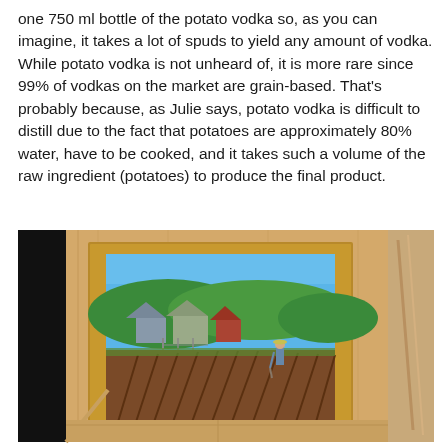one 750 ml bottle of the potato vodka so, as you can imagine, it takes a lot of spuds to yield any amount of vodka. While potato vodka is not unheard of, it is more rare since 99% of vodkas on the market are grain-based. That's probably because, as Julie says, potato vodka is difficult to distill due to the fact that potatoes are approximately 80% water, have to be cooked, and it takes such a volume of the raw ingredient (potatoes) to produce the final product.
[Figure (photo): A framed painting displayed on a wooden easel/crate inside a dark room. The painting depicts a farmer working in a potato field with rows of crops, farm buildings in the background, green hills, and a blue sky. The frame is made of light natural wood.]